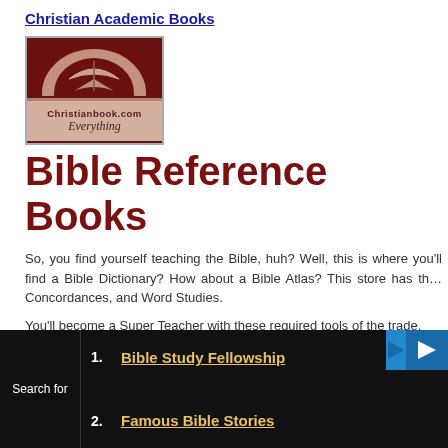Christian Academic Books
[Figure (logo): Christianbook.com logo with book graphic and 'Everything' tagline on dark red background]
Bible Reference Books
So, you find yourself teaching the Bible, huh? Well, this is where you'll find a Bible Dictionary? How about a Bible Atlas? This store has the Concordances, and Word Studies.
You'll become a Super Teacher with these required tools of the trade.
Bible Reference Books
Christian eBooks
1. Bible Study Fellowship
2. Famous Bible Stories
Search for